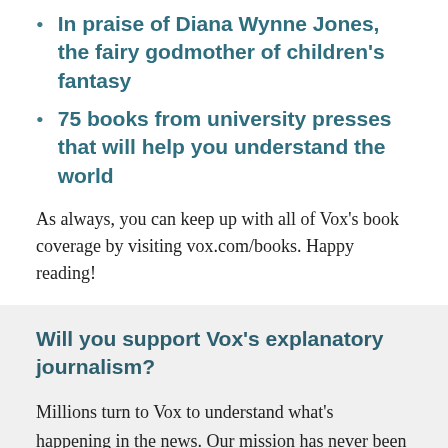In praise of Diana Wynne Jones, the fairy godmother of children's fantasy
75 books from university presses that will help you understand the world
As always, you can keep up with all of Vox's book coverage by visiting vox.com/books. Happy reading!
Will you support Vox's explanatory journalism?
Millions turn to Vox to understand what's happening in the news. Our mission has never been more vital than it is in this moment: to empower through understanding. Financial contributions from our readers are a critical part of the…